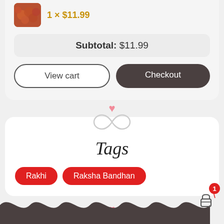1 × $11.99
Subtotal: $11.99
View cart
Checkout
Tags
Rakhi
Raksha Bandhan